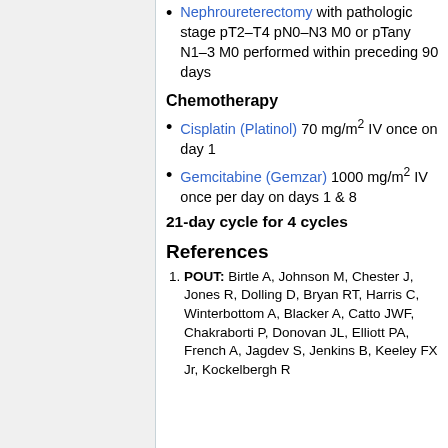Nephroureterectomy with pathologic stage pT2–T4 pN0–N3 M0 or pTany N1–3 M0 performed within preceding 90 days
Chemotherapy
Cisplatin (Platinol) 70 mg/m2 IV once on day 1
Gemcitabine (Gemzar) 1000 mg/m2 IV once per day on days 1 & 8
21-day cycle for 4 cycles
References
POUT: Birtle A, Johnson M, Chester J, Jones R, Dolling D, Bryan RT, Harris C, Winterbottom A, Blacker A, Catto JWF, Chakraborti P, Donovan JL, Elliott PA, French A, Jagdev S, Jenkins B, Keeley FX Jr, Kockelbergh R